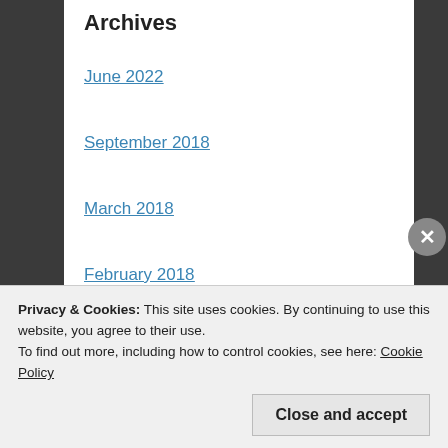Archives
June 2022
September 2018
March 2018
February 2018
June 2017
April 2017
February 2017
November 2016
August 2016
July 2016
Privacy & Cookies: This site uses cookies. By continuing to use this website, you agree to their use.
To find out more, including how to control cookies, see here: Cookie Policy
Close and accept